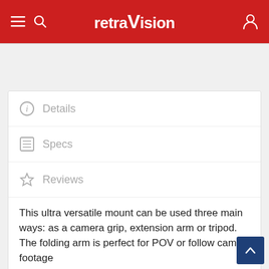retraVision
Details
Specs
Reviews
This ultra versatile mount can be used three main ways: as a camera grip, extension arm or tripod. The folding arm is perfect for POV or follow cam footage